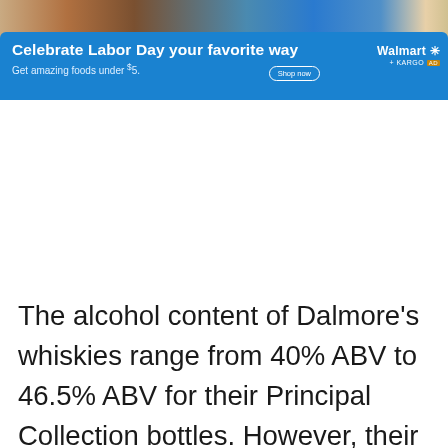[Figure (infographic): Walmart + Kargo advertising banner for Labor Day promotion featuring food images and blue background. Headline: 'Celebrate Labor Day your favorite way'. Subtext: 'Get amazing foods under $5.' with a 'Shop now' button and Walmart + Kargo AD logo.]
The alcohol content of Dalmore's whiskies range from 40% ABV to 46.5% ABV for their Principal Collection bottles. However, their limited-edition